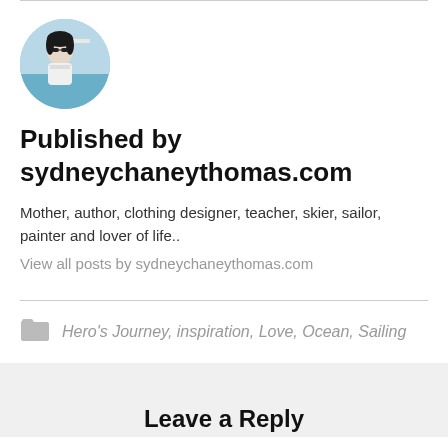[Figure (photo): Circular avatar photo of a woman wearing sunglasses, with blue water/sky background]
Published by sydneychaneythomas.com
Mother, author, clothing designer, teacher, skier, sailor, painter and lover of life..
View all posts by sydneychaneythomas.com
Hero's Journey, inspiration, Love, Ocean, Sailing
Leave a Reply